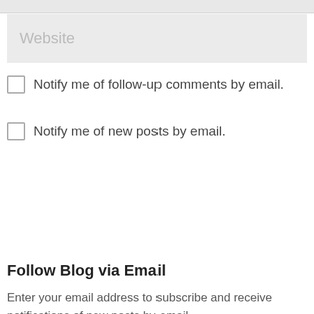[Figure (screenshot): Website text input field with placeholder text 'Website' on a light grey background]
Notify me of follow-up comments by email.
Notify me of new posts by email.
Follow Blog via Email
Enter your email address to subscribe and receive notifications of new posts by email.